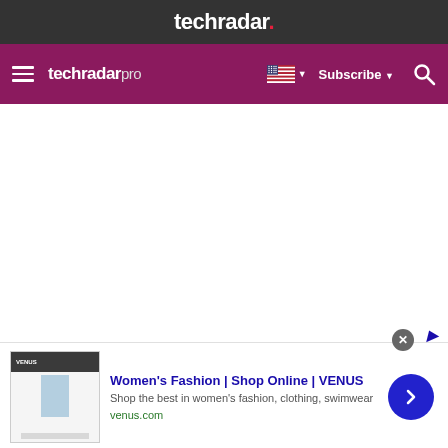techradar.
techradar pro  Subscribe
Women's Fashion | Shop Online | VENUS
Shop the best in women's fashion, clothing, swimwear
venus.com